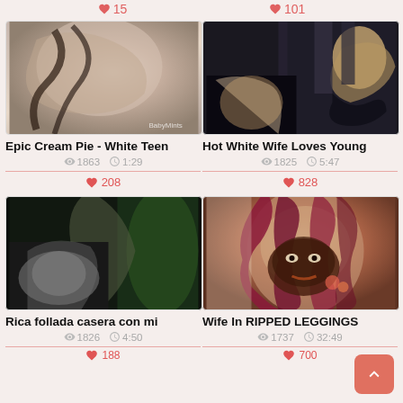[Figure (photo): Top bar showing partial like counts (15 and 101)]
[Figure (photo): Thumbnail image for Epic Cream Pie - White Teen video]
[Figure (photo): Thumbnail image for Hot White Wife Loves Young video]
Epic Cream Pie - White Teen
1863  1:29  208
Hot White Wife Loves Young
1825  5:47  828
[Figure (photo): Thumbnail image for Rica follada casera con mi video]
[Figure (photo): Thumbnail image for Wife In RIPPED LEGGINGS video]
Rica follada casera con mi
1826  4:50  188
Wife In RIPPED LEGGINGS
1737  32:49  700